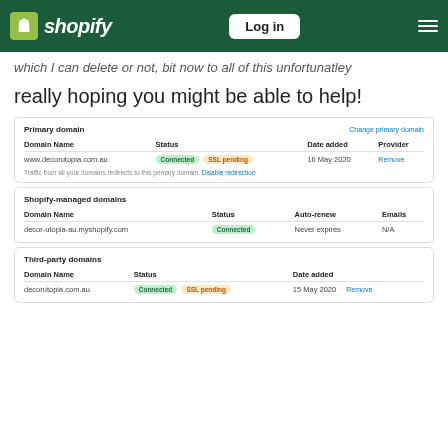Shopify - Log in
which I can delete or not, bit now to all of this unfortunatley
really hoping you might be able to help!
| Domain Name | Status | Date added | Provider |
| --- | --- | --- | --- |
| www.decorutopia.com.au | Connected  SSL pending | 16 May 2020 | Remove |
| Domain Name | Status | Auto-renew | Emails |
| --- | --- | --- | --- |
| decor-utopia-au.myshopify.com | Connected | Never expires | N/A |
| Domain Name | Status | Date added |
| --- | --- | --- |
| decorutopia.com.au | Connected  SSL pending | 15 May 2020 | Remove |